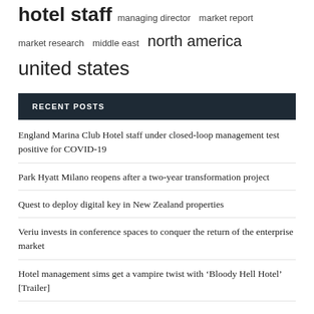hotel staff  managing director  market report  market research  middle east  north america  united states
RECENT POSTS
England Marina Club Hotel staff under closed-loop management test positive for COVID-19
Park Hyatt Milano reopens after a two-year transformation project
Quest to deploy digital key in New Zealand properties
Veriu invests in conference spaces to conquer the return of the enterprise market
Hotel management sims get a vampire twist with 'Bloody Hell Hotel' [Trailer]